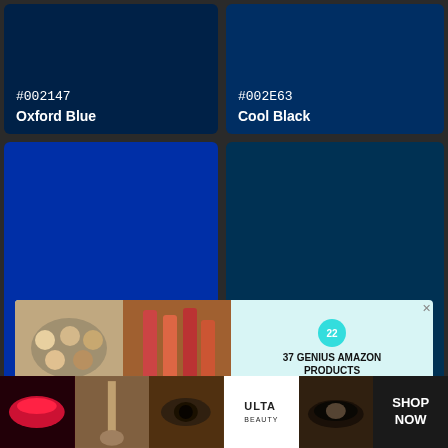[Figure (illustration): Color swatch for Oxford Blue (#002147) - dark navy blue rectangle with hex code and name label in white]
[Figure (illustration): Color swatch for Cool Black (#002E63) - very dark navy/cool black rectangle with hex code and name label in white]
[Figure (illustration): Color swatch for International Klein Blue (#002FA7) - bright vivid blue large rectangle with hex code and name label in white]
[Figure (illustration): Color swatch for Prussian Blue / Berlin Blue (#003153) - dark teal-blue large rectangle with hex code and name label in white]
[Figure (screenshot): Advertisement banner: 37 Genius Amazon Products with makeup/beauty product photos, a teal badge showing '22', and a CLOSE button overlay]
[Figure (screenshot): Bottom strip advertisement showing makeup/beauty images and ULTA logo with SHOP NOW call to action]